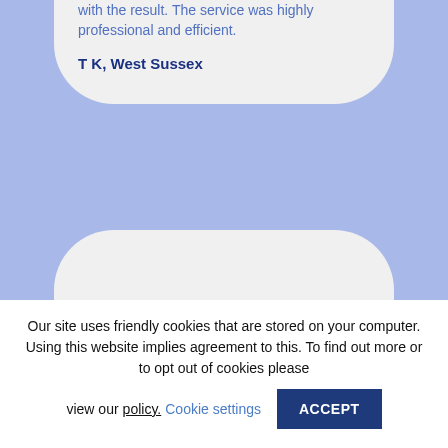with the result. The service was highly professional and efficient.
T K, West Sussex
Our site uses friendly cookies that are stored on your computer. Using this website implies agreement to this. To find out more or to opt out of cookies please view our policy. Cookie settings ACCEPT